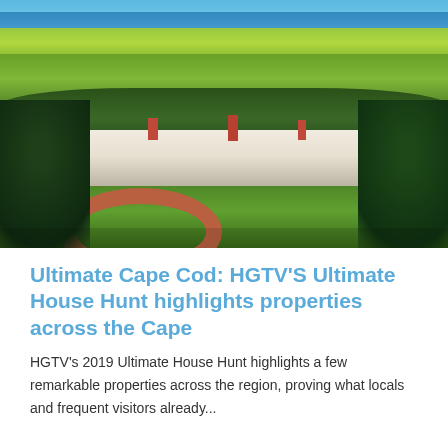[Figure (photo): Aerial photograph of a large white Cape Cod style estate house with a circular brick driveway, surrounded by green lawns and trees, with marshland, green fields, and blue ocean/bay visible in the background.]
Ultimate Cape Cod: HGTV'S Ultimate House Hunt highlights properties across the Cape
HGTV's 2019 Ultimate House Hunt highlights a few remarkable properties across the region, proving what locals and frequent visitors already...